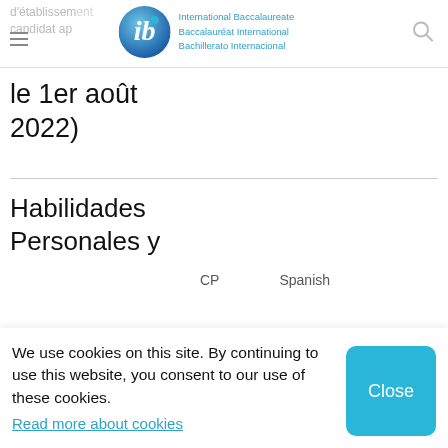d'établissement candidat ap — International Baccalaureate Baccalauréat International Bachillerato Internacional
le 1er août 2022)
Habilidades Personales y
CP   Spanish
We use cookies on this site. By continuing to use this website, you consent to our use of these cookies.
Read more about cookies